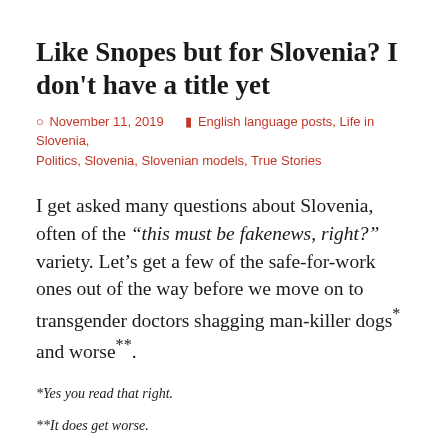Like Snopes but for Slovenia? I don't have a title yet
November 11, 2019   English language posts, Life in Slovenia, Politics, Slovenia, Slovenian models, True Stories
I get asked many questions about Slovenia, often of the “this must be fakenews, right?” variety. Let’s get a few of the safe-for-work ones out of the way before we move on to transgender doctors shagging man-killer dogs* and worse**.
*Yes you read that right.
**It does get worse.